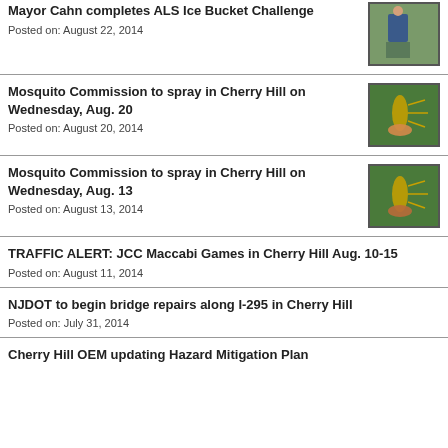Mayor Cahn completes ALS Ice Bucket Challenge
Posted on: August 22, 2014
Mosquito Commission to spray in Cherry Hill on Wednesday, Aug. 20
Posted on: August 20, 2014
Mosquito Commission to spray in Cherry Hill on Wednesday, Aug. 13
Posted on: August 13, 2014
TRAFFIC ALERT: JCC Maccabi Games in Cherry Hill Aug. 10-15
Posted on: August 11, 2014
NJDOT to begin bridge repairs along I-295 in Cherry Hill
Posted on: July 31, 2014
Cherry Hill OEM updating Hazard Mitigation Plan